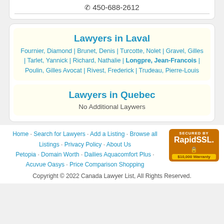450-688-2612
Lawyers in Laval
Fournier, Diamond | Brunet, Denis | Turcotte, Nolet | Gravel, Gilles | Tarlet, Yannick | Richard, Nathalie | Longpre, Jean-Francois | Poulin, Gilles Avocat | Rivest, Frederick | Trudeau, Pierre-Louis
Lawyers in Quebec
No Additional Laywers
Home · Search for Lawyers · Add a Listing · Browse all Listings · Privacy Policy · About Us Petopia · Domain Worth · Dailies Aquacomfort Plus · Acuvue Oasys · Price Comparison Shopping
Copyright © 2022 Canada Lawyer List, All Rights Reserved.